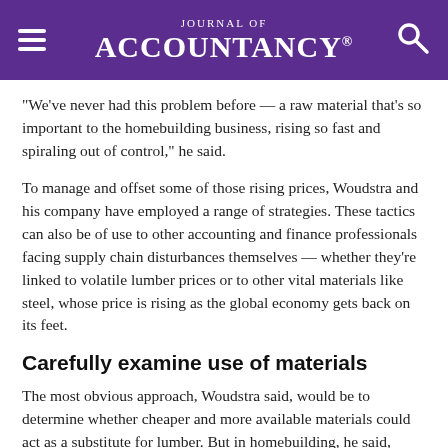Journal of Accountancy
"We've never had this problem before — a raw material that's so important to the homebuilding business, rising so fast and spiraling out of control," he said.
To manage and offset some of those rising prices, Woudstra and his company have employed a range of strategies. These tactics can also be of use to other accounting and finance professionals facing supply chain disturbances themselves — whether they're linked to volatile lumber prices or to other vital materials like steel, whose price is rising as the global economy gets back on its feet.
Carefully examine use of materials
The most obvious approach, Woudstra said, would be to determine whether cheaper and more available materials could act as a substitute for lumber. But in homebuilding, he said, lumber tends to be foundational in framing a house; there's often nothing else that can work in its place.